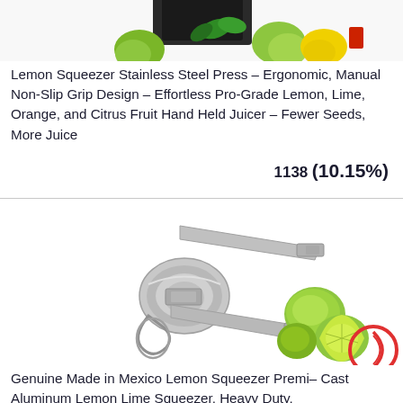[Figure (photo): Product photo of a lemon squeezer with limes and dark packaging box, partially cropped at top]
Lemon Squeezer Stainless Steel Press – Ergonomic, Manual Non-Slip Grip Design – Effortless Pro-Grade Lemon, Lime, Orange, and Citrus Fruit Hand Held Juicer – Fewer Seeds, More Juice
1138 (10.15%)
[Figure (photo): Silver cast aluminum lemon/lime squeezer tool with green limes next to it, copyright circle watermark in bottom right]
Genuine Made in Mexico Lemon Squeezer Premi– Cast Aluminum Lemon Lime Squeezer, Heavy Duty,